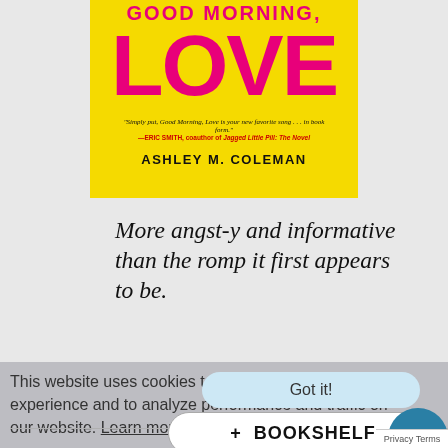[Figure (photo): Book cover of 'Good Morning, Love' by Ashley M. Coleman. Yellow background with large hot pink bold text 'LOVE' and smaller pink text above it. A blurb in italic text with a red attribution line. Author name in bold black text at the bottom of the cover.]
More angst-y and informative than the romp it first appears to be.
This website uses cookies to enhance user experience and to analyze performance and traffic on our website. Learn more
Got it!
+ BOOKSHELF